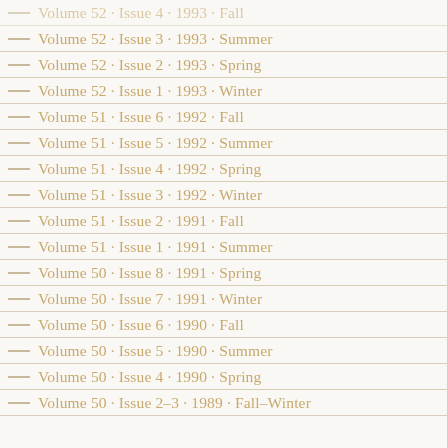Volume 52 · Issue 4 · 1993 · Fall
Volume 52 · Issue 3 · 1993 · Summer
Volume 52 · Issue 2 · 1993 · Spring
Volume 52 · Issue 1 · 1993 · Winter
Volume 51 · Issue 6 · 1992 · Fall
Volume 51 · Issue 5 · 1992 · Summer
Volume 51 · Issue 4 · 1992 · Spring
Volume 51 · Issue 3 · 1992 · Winter
Volume 51 · Issue 2 · 1991 · Fall
Volume 51 · Issue 1 · 1991 · Summer
Volume 50 · Issue 8 · 1991 · Spring
Volume 50 · Issue 7 · 1991 · Winter
Volume 50 · Issue 6 · 1990 · Fall
Volume 50 · Issue 5 · 1990 · Summer
Volume 50 · Issue 4 · 1990 · Spring
Volume 50 · Issue 2–3 · 1989 · Fall–Winter